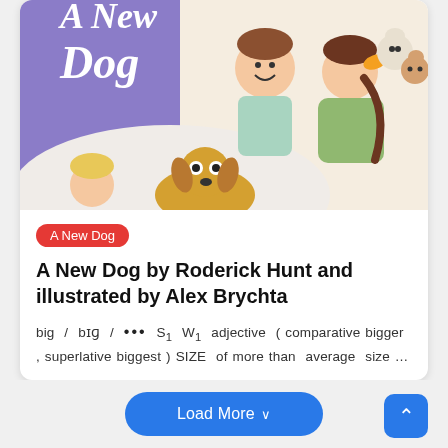[Figure (illustration): Book cover illustration for 'A New Dog' showing children and dogs. Left portion has purple background with white italic text 'A New Dog'. Illustrated children and many dogs on the right. Bottom left shows a blonde child and a yellow dog with googly eyes.]
A New Dog
A New Dog by Roderick Hunt and illustrated by Alex Brychta
big / bɪɡ / ••• S1 W1 adjective ( comparative bigger , superlative biggest ) SIZE of more than average size …
February 28, 2022